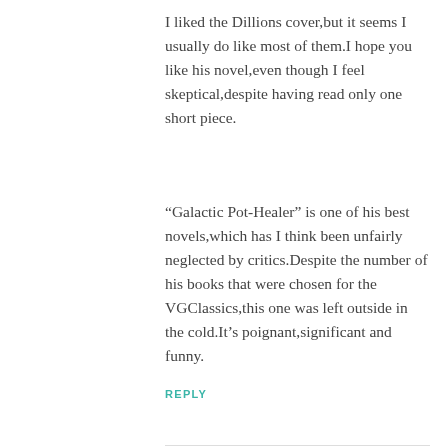I liked the Dillions cover,but it seems I usually do like most of them.I hope you like his novel,even though I feel skeptical,despite having read only one short piece.
“Galactic Pot-Healer” is one of his best novels,which has I think been unfairly neglected by critics.Despite the number of his books that were chosen for the VGClassics,this one was left outside in the cold.It’s poignant,significant and funny.
REPLY